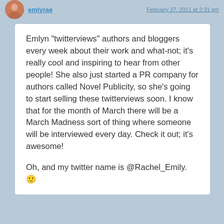emlyrae  February 27, 2011 at 2:31 pm
Emlyn "twitterviews" authors and bloggers every week about their work and what-not; it's really cool and inspiring to hear from other people! She also just started a PR company for authors called Novel Publicity, so she's going to start selling these twitterviews soon. I know that for the month of March there will be a March Madness sort of thing where someone will be interviewed every day. Check it out; it's awesome!
Oh, and my twitter name is @Rachel_Emily. 🙂